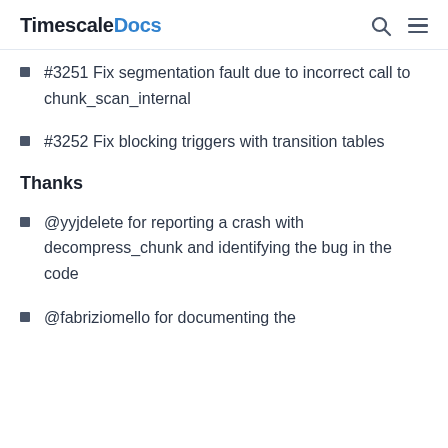TimescaleDocs
#3251 Fix segmentation fault due to incorrect call to chunk_scan_internal
#3252 Fix blocking triggers with transition tables
Thanks
@yyjdelete for reporting a crash with decompress_chunk and identifying the bug in the code
@fabriziomello for documenting the